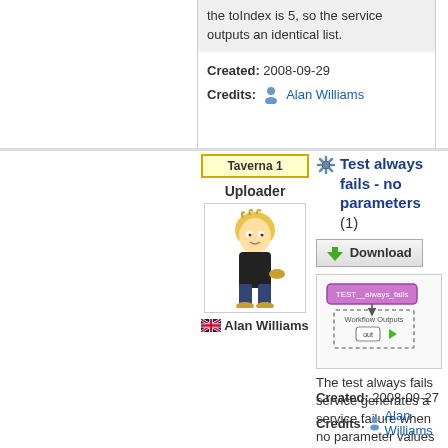the toIndex is 5, so the service outputs an identical list.
Created: 2008-09-29
Credits: Alan Williams
Taverna 1
Uploader
[Figure (illustration): Avatar of a person character (Simpson-style) standing]
Alan Williams
Test always fails - no parameters (1)
Download
[Figure (screenshot): Workflow diagram showing TEST__always_fails processor connected to Workflow Outputs with 'out' port]
The test always fails service generates a service failure when no parameter values are supplied.
Created: 2008-09-27
Credits: Alan Williams